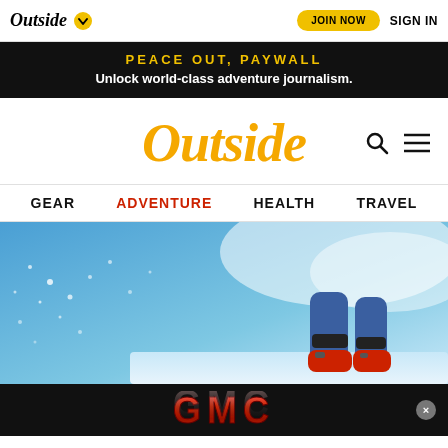Outside | JOIN NOW | SIGN IN
PEACE OUT, PAYWALL
Unlock world-class adventure journalism.
Outside
GEAR  ADVENTURE  HEALTH  TRAVEL
[Figure (photo): Skier jumping against blue sky with snow spray, legs visible with blue pants and red boots]
[Figure (logo): GMC logo advertisement banner in red metallic letters on dark background with close button]